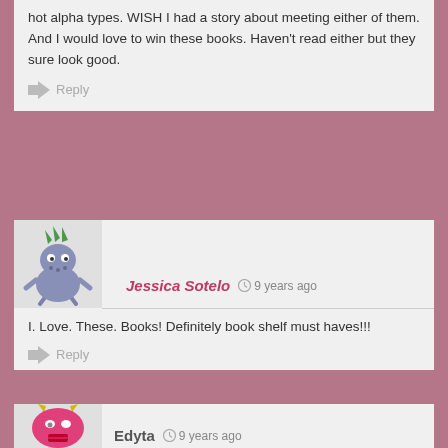hot alpha types. WISH I had a story about meeting either of them. And I would love to win these books. Haven't read either but they sure look good.
Reply
[Figure (illustration): Cartoon monster avatar for Jessica Sotelo - small blue/grey creature with green spiky hair]
Jessica Sotelo  9 years ago
I. Love. These. Books! Definitely book shelf must haves!!!
Reply
[Figure (illustration): Cartoon monster avatar for Edyta - pink creature with yellow horns and red mouth]
Edyta  9 years ago
I have a total girl crush on Kate Hudson <3 and my man crush is Adam Levine…effin LOVE HIM TO PIECES! I